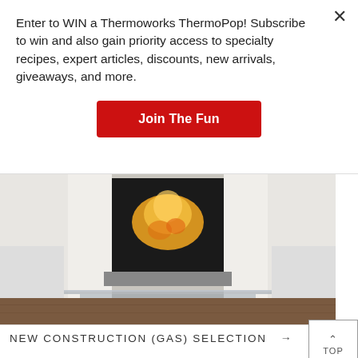Enter to WIN a Thermoworks ThermoPop! Subscribe to win and also gain priority access to specialty recipes, expert articles, discounts, new arrivals, giveaways, and more.
Join The Fun
[Figure (photo): A lit fireplace with white mantle and surround, glass coffee table in foreground, white sofas on either side, hardwood floor]
NEW CONSTRUCTION (GAS) SELECTION →
[Figure (photo): Modern interior with gray tile wall and recessed fireplace, warm lighting from ceiling light or chandelier visible at right]